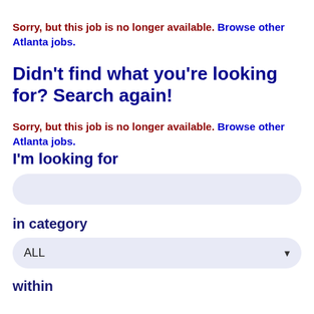Sorry, but this job is no longer available. Browse other Atlanta jobs.
Didn't find what you're looking for? Search again!
Sorry, but this job is no longer available. Browse other Atlanta jobs.
I'm looking for
in category
ALL
within